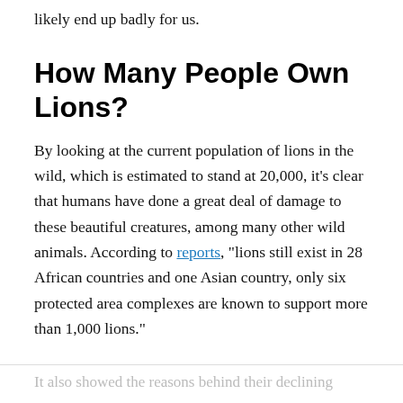likely end up badly for us.
How Many People Own Lions?
By looking at the current population of lions in the wild, which is estimated to stand at 20,000, it's clear that humans have done a great deal of damage to these beautiful creatures, among many other wild animals. According to reports, "lions still exist in 28 African countries and one Asian country, only six protected area complexes are known to support more than 1,000 lions."
It also showed the reasons behind their declining